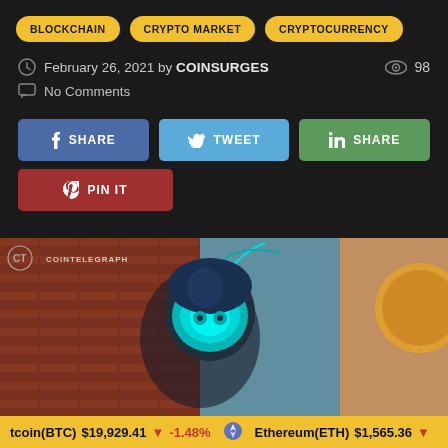BLOCKCHAIN  CRYPTO MARKET  CRYPTOCURRENCY
February 26, 2021 by COINSURGES  98
No Comments
SHARE  TWEET  SHARE  PIN IT
[Figure (illustration): Illustrated crypto/blockchain themed image from CoinTelegraph showing a cartoon character with glowing cyan visor.]
tcoin(BTC) $19,929.41 -1.48%  Ethereum(ETH) $1,565.36